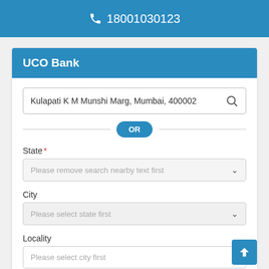18001030123
UCO Bank
Kulapati K M Munshi Marg, Mumbai, 400002
OR
State *
Please remove search nearby text first
City
Please select state first
Locality
Please select city first